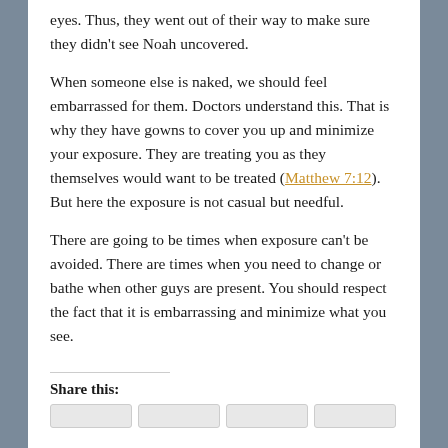eyes. Thus, they went out of their way to make sure they didn't see Noah uncovered.
When someone else is naked, we should feel embarrassed for them. Doctors understand this. That is why they have gowns to cover you up and minimize your exposure. They are treating you as they themselves would want to be treated (Matthew 7:12). But here the exposure is not casual but needful.
There are going to be times when exposure can't be avoided. There are times when you need to change or bathe when other guys are present. You should respect the fact that it is embarrassing and minimize what you see.
Share this: